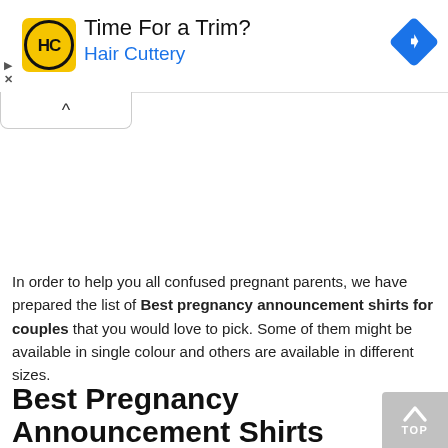[Figure (other): Hair Cuttery advertisement banner with yellow HC logo, headline 'Time For a Trim?', brand name 'Hair Cuttery' in blue, and a blue navigation/directions diamond icon on the right. Small play and close icons on the far left.]
[Figure (other): Collapse/hide ad button with an upward caret (^) symbol, shown as a rounded tab below the ad banner.]
In order to help you all confused pregnant parents, we have prepared the list of Best pregnancy announcement shirts for couples that you would love to pick. Some of them might be available in single colour and others are available in different sizes.
Best Pregnancy Announcement Shirts For Couples 2022